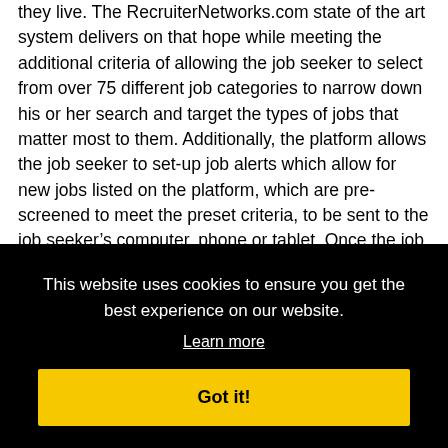they live. The RecruiterNetworks.com state of the art system delivers on that hope while meeting the additional criteria of allowing the job seeker to select from over 75 different job categories to narrow down his or her search and target the types of jobs that matter most to them. Additionally, the platform allows the job seeker to set-up job alerts which allow for new jobs listed on the platform, which are pre-screened to meet the preset criteria, to be sent to the job seeker's computer, phone or tablet. Once the job alerts are reviewed, the job seeker may automatically apply to a selected job instantly from his phone or other device. To accommodate any non-English speaking job seekers, the platform handles over 100 different language [...]jobs [...]rving [...]. [...] s while [...] e [...] digital [...] npany [...] are [...] n their city and is easy to use.
This website uses cookies to ensure you get the best experience on our website. Learn more. Got it!